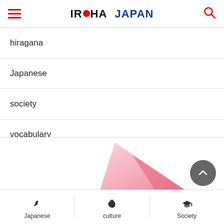IROHA JAPAN
hiragana
Japanese
society
vocabulary
word map
[Figure (illustration): Pink triangular/petal shape decorative element at bottom of page]
Japanese  culture  Society